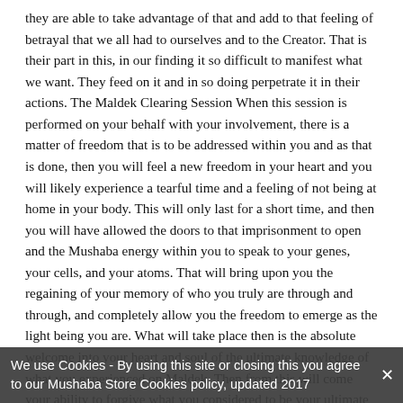they are able to take advantage of that and add to that feeling of betrayal that we all had to ourselves and to the Creator. That is their part in this, in our finding it so difficult to manifest what we want. They feed on it and in so doing perpetrate it in their actions. The Maldek Clearing Session When this session is performed on your behalf with your involvement, there is a matter of freedom that is to be addressed within you and as that is done, then you will feel a new freedom in your heart and you will likely experience a tearful time and a feeling of not being at home in your body. This will only last for a short time, and then you will have allowed the doors to that imprisonment to open and the Mushaba energy within you to speak to your genes, your cells, and your atoms. That will bring upon you the regaining of your memory of who you truly are through and through, and completely allow you the freedom to emerge as the light being you are. What will take place then is the absolute welcome into your heart and soul of the ultimate knowledge of what you experienced on Maldek. Then from this will come your ability to forgive what you considered to be your ultimate blasphemy toward your Creator, God, or Spirit Everlasting. You
We use Cookies - By using this site or closing this you agree to our Mushaba Store Cookies policy, updated 2017
reversal of the fear and self-intimidation will come and all of humanity will be